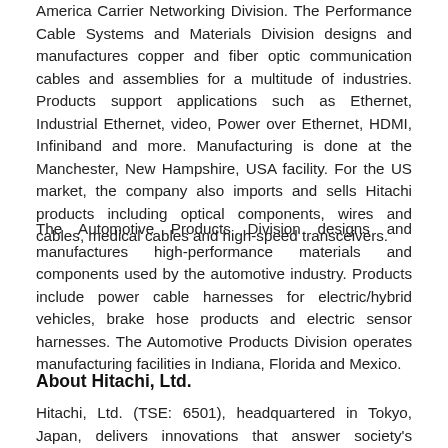America Carrier Networking Division. The Performance Cable Systems and Materials Division designs and manufactures copper and fiber optic communication cables and assemblies for a multitude of industries. Products support applications such as Ethernet, Industrial Ethernet, video, Power over Ethernet, HDMI, Infiniband and more. Manufacturing is done at the Manchester, New Hampshire, USA facility. For the US market, the company also imports and sells Hitachi products including optical components, wires and cables, medical cables and high-speed transceivers.
The Automotive Products Division designs and manufactures high-performance materials and components used by the automotive industry. Products include power cable harnesses for electric/hybrid vehicles, brake hose products and electric sensor harnesses. The Automotive Products Division operates manufacturing facilities in Indiana, Florida and Mexico.
About Hitachi, Ltd.
Hitachi, Ltd. (TSE: 6501), headquartered in Tokyo, Japan, delivers innovations that answer society's challenges with our talented team and